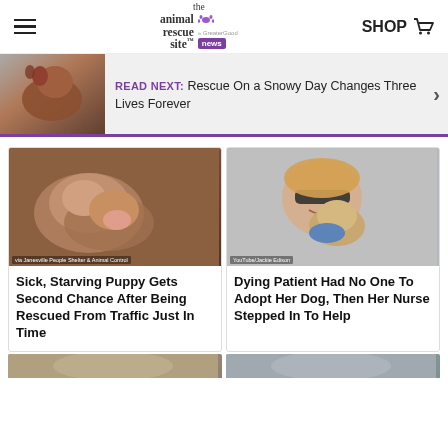[Figure (screenshot): Navigation bar with hamburger menu, The Animal Rescue Site News logo with paw print, and SHOP with cart icon]
[Figure (photo): Read Next banner showing a brown dog sitting outside with text: READ NEXT: Rescue On a Snowy Day Changes Three Lives Forever]
READ NEXT: Rescue On a Snowy Day Changes Three Lives Forever
[Figure (photo): Sick hairless puppy rescued from traffic, lying on gray surface]
Sick, Starving Puppy Gets Second Chance After Being Rescued From Traffic Just In Time
[Figure (photo): Woman smiling with small dog, YouTube/Jackie Edison credit]
Dying Patient Had No One To Adopt Her Dog, Then Her Nurse Stepped In To Help
[Figure (photo): Partial bottom images of two more articles]